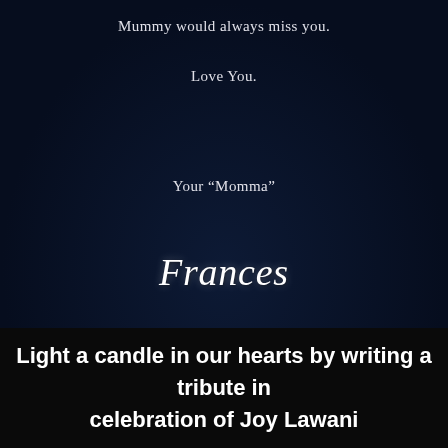Mummy would always miss you.
Love You.
Your “Momma”
Frances
Light a candle in our hearts by writing a tribute in celebration of Joy Lawani